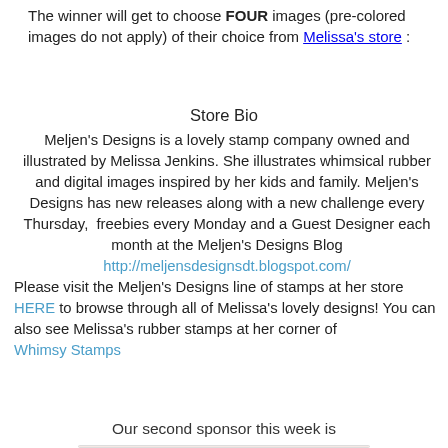The winner will get to choose FOUR images (pre-colored images do not apply) of their choice from Melissa's store :
Store Bio
Meljen's Designs is a lovely stamp company owned and illustrated by Melissa Jenkins. She illustrates whimsical rubber and digital images inspired by her kids and family. Meljen's Designs has new releases along with a new challenge every Thursday, freebies every Monday and a Guest Designer each month at the Meljen's Designs Blog http://meljensdesignsdt.blogspot.com/ Please visit the Meljen's Designs line of stamps at her store HERE to browse through all of Melissa's lovely designs! You can also see Melissa's rubber stamps at her corner of Whimsy Stamps
Our second sponsor this week is
[Figure (illustration): Partial illustration showing a pink-background drawing with what appears to be a character, framed in a light rounded rectangle]